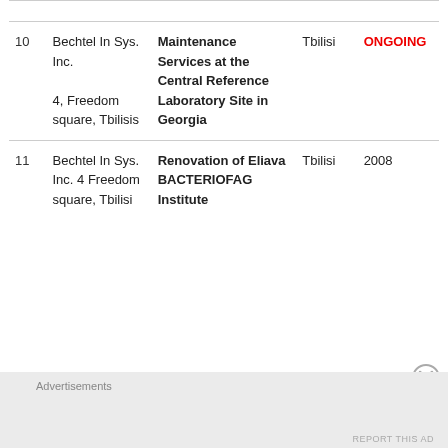| # | Company | Project | City | Status/Year |
| --- | --- | --- | --- | --- |
| 10 | Bechtel In Sys. Inc.
4, Freedom square, Tbilisis | Maintenance Services at the Central Reference Laboratory Site in Georgia | Tbilisi | ONGOING |
| 11 | Bechtel In Sys. Inc. 4 Freedom square, Tbilisi | Renovation of Eliava BACTERIOFAG Institute | Tbilisi | 2008 |
Advertisements